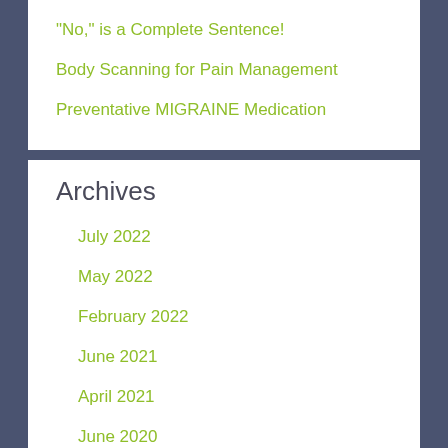“No,” is a Complete Sentence!
Body Scanning for Pain Management
Preventative MIGRAINE Medication
Archives
July 2022
May 2022
February 2022
June 2021
April 2021
June 2020